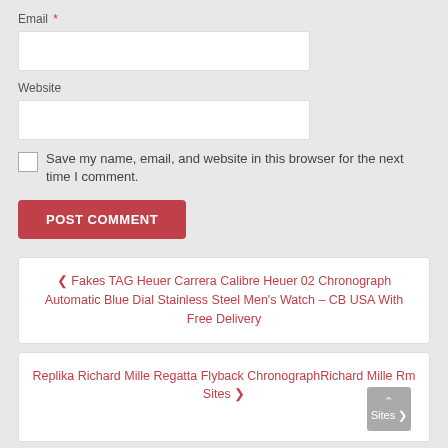Email *
Website
Save my name, email, and website in this browser for the next time I comment.
POST COMMENT
❮ Fakes TAG Heuer Carrera Calibre Heuer 02 Chronograph Automatic Blue Dial Stainless Steel Men's Watch – CB USA With Free Delivery
Replika Richard Mille Regatta Flyback ChronographRichard Mille Rm Sites ❯